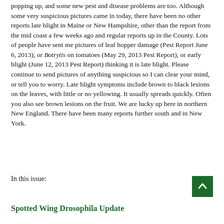popping up, and some new pest and disease problems are too. Although some very suspicious pictures came in today, there have been no other reports late blight in Maine or New Hampshire, other than the report from the mid coast a few weeks ago and regular reports up in the County. Lots of people have sent me pictures of leaf hopper damage (Pest Report June 6, 2013), or Botrytis on tomatoes (May 29, 2013 Pest Report), or early blight (June 12, 2013 Pest Report) thinking it is late blight. Please continue to send pictures of anything suspicious so I can clear your mind, or tell you to worry. Late blight symptoms include brown to black lesions on the leaves, with little or no yellowing. It usually spreads quickly. Often you also see brown lesions on the fruit. We are lucky up here in northern New England. There have been many reports further south and in New York.
In this issue:
Spotted Wing Drosophila Update